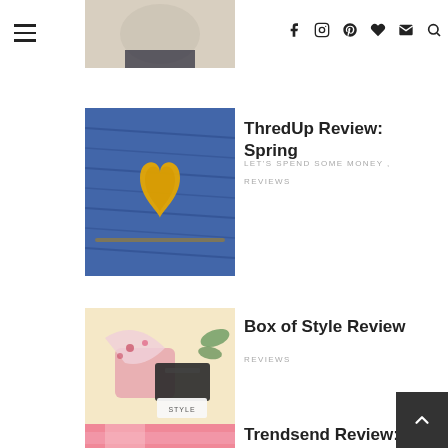Navigation header with hamburger menu, top photo, social icons (Facebook, Instagram, Pinterest, Heart, Email, Search)
[Figure (photo): Close-up of denim jeans with a yellow yarn heart shape in the pocket]
ThredUp Review: Spring
LET'S SPEND SOME MONEY , REVIEWS
[Figure (photo): Flat lay of a floral scarf, pink pouch, black clutch and a 'STYLE' box on a light background]
Box of Style Review
REVIEWS
[Figure (photo): Pink and white items partially visible at bottom of page, Trendsend review article]
Trendsend Review: